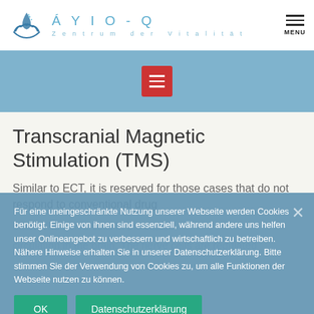ÁYIO-Q Zentrum der Vitalität
[Figure (logo): ÁYIO-Q logo with water drop and hands icon, blue color scheme]
Transcranial Magnetic Stimulation (TMS)
Similar to ECT, it is reserved for those cases that do not respond to conventional drug
Für eine uneingeschränkte Nutzung unserer Webseite werden Cookies benötigt. Einige von ihnen sind essenziell, während andere uns helfen unser Onlineangebot zu verbessern und wirtschaftlich zu betreiben. Nähere Hinweise erhalten Sie in unserer Datenschutzerklärung. Bitte stimmen Sie der Verwendung von Cookies zu, um alle Funktionen der Webseite nutzen zu können.
OK  Datenschutzerklärung